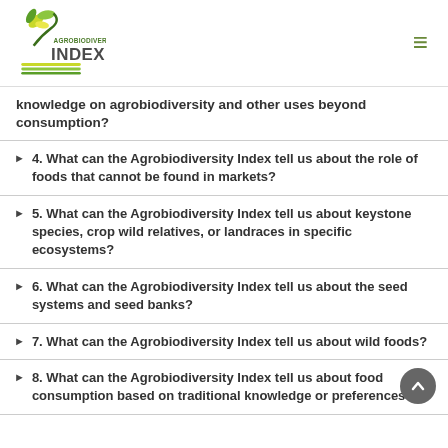[Figure (logo): Agrobiodiversity Index logo with green plant/leaves graphic and text 'AGROBIODIVERSITY INDEX']
knowledge on agrobiodiversity and other uses beyond consumption?
4. What can the Agrobiodiversity Index tell us about the role of foods that cannot be found in markets?
5. What can the Agrobiodiversity Index tell us about keystone species, crop wild relatives, or landraces in specific ecosystems?
6. What can the Agrobiodiversity Index tell us about the seed systems and seed banks?
7. What can the Agrobiodiversity Index tell us about wild foods?
8. What can the Agrobiodiversity Index tell us about food consumption based on traditional knowledge or preferences?